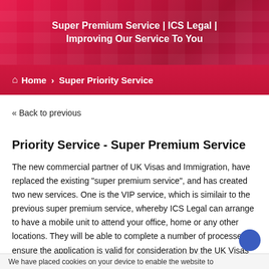Super Premium Service | ICS Legal | Improving Our Service To You
Home > Super Priority Service
« Back to previous
Priority Service - Super Premium Service
The new commercial partner of UK Visas and Immigration, have replaced the existing "super premium service", and has created two new services. One is the VIP service, which is similair to the previous super premium service, whereby ICS Legal can arrange to have a mobile unit to attend your office, home or any other locations. They will be able to complete a number of processes to ensure the application is valid for consideration by the UK Visas and Immigration Team at the Home Office. The second is the new
We have placed cookies on your device to enable the website to